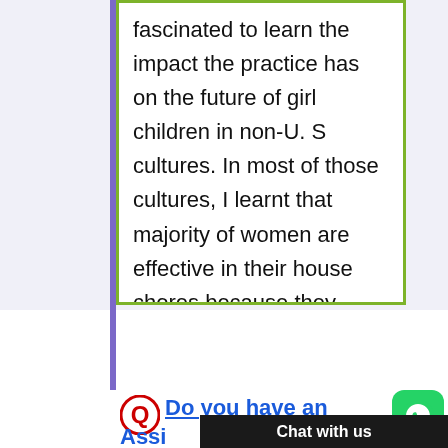fascinated to learn the impact the practice has on the future of girl children in non-U. S cultures. In most of those cultures, I learnt that majority of women are effective in their house chores because they
Do you have an Assi... nilar
Chat with us